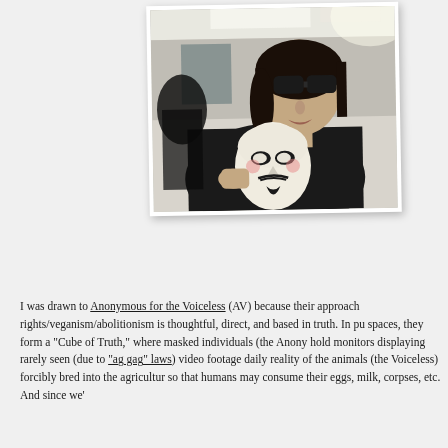[Figure (photo): A person wearing dark sunglasses and a black jacket, holding a white Guy Fawkes mask (Anonymous mask) in an indoor setting. The photo is displayed as a Polaroid-style print with a slight rotation.]
I was drawn to Anonymous for the Voiceless (AV) because their approach rights/veganism/abolitionism is thoughtful, direct, and based in truth. In public spaces, they form a "Cube of Truth," where masked individuals (the Anony hold monitors displaying rarely seen (due to "ag gag" laws) video footage daily reality of the animals (the Voiceless) forcibly bred into the agricultur so that humans may consume their eggs, milk, corpses, etc. And since we'